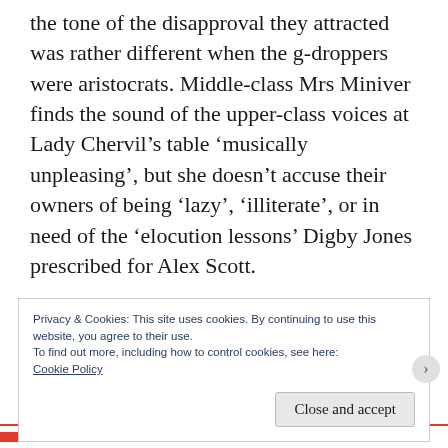the tone of the disapproval they attracted was rather different when the g-droppers were aristocrats. Middle-class Mrs Miniver finds the sound of the upper-class voices at Lady Chervil’s table ‘musically unpleasing’, but she doesn’t accuse their owners of being ‘lazy’, ‘illiterate’, or in need of the ‘elocution lessons’ Digby Jones prescribed for Alex Scott.
That’s one way we know criticisms of pronunciation aren’t, as those who make them
Privacy & Cookies: This site uses cookies. By continuing to use this website, you agree to their use.
To find out more, including how to control cookies, see here:
Cookie Policy
Close and accept